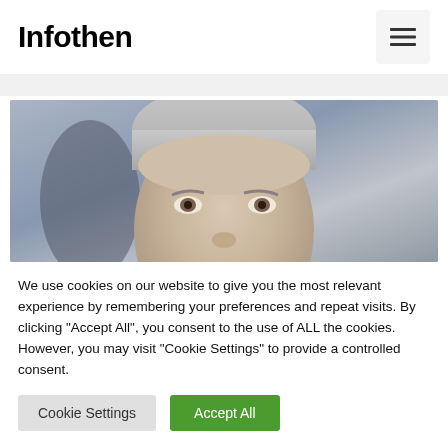Infothen
[Figure (photo): Close-up photo of a middle-aged man with grey hair against a grey blurred background, cropped at the forehead and nose level.]
We use cookies on our website to give you the most relevant experience by remembering your preferences and repeat visits. By clicking “Accept All”, you consent to the use of ALL the cookies. However, you may visit "Cookie Settings" to provide a controlled consent.